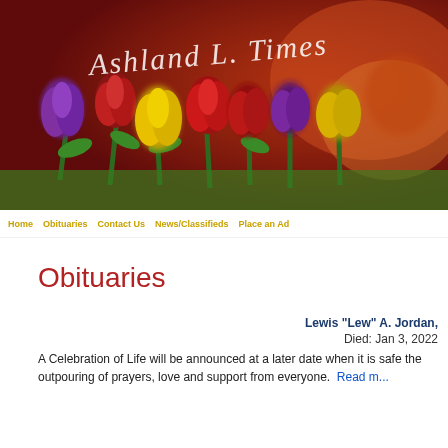[Figure (photo): Header banner image showing colorful tulips (red, purple, yellow) in the foreground against a dark red/maroon background, with cursive white script text overlay that reads something like 'Ashland L. Times' or similar funeral home/newspaper name.]
Home | Obituaries | Contact Us | News/Classifieds | Place an Ad
Obituaries
Lewis "Lew" A. Jordan,
Died: Jan 3, 2022
A Celebration of Life will be announced at a later date when it is safe the outpouring of prayers, love and support from everyone.  Read m...